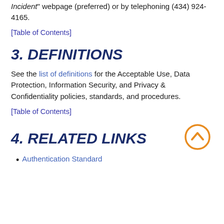Incident' webpage (preferred) or by telephoning (434) 924-4165.
[Table of Contents]
3. DEFINITIONS
See the list of definitions for the Acceptable Use, Data Protection, Information Security, and Privacy & Confidentiality policies, standards, and procedures.
[Table of Contents]
4. RELATED LINKS
Authentication Standard